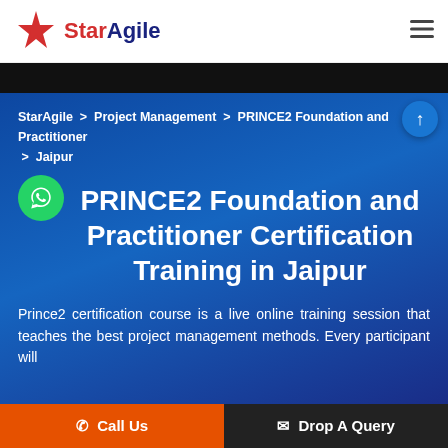[Figure (logo): StarAgile logo with red star icon and blue/red text]
≡ (menu icon)
StarAgile > Project Management > PRINCE2 Foundation and Practitioner > Jaipur
PRINCE2 Foundation and Practitioner Certification Training in Jaipur
Prince2 certification course is a live online training session that teaches the best project management methods. Every participant will
📞 Call Us    ✉ Drop A Query